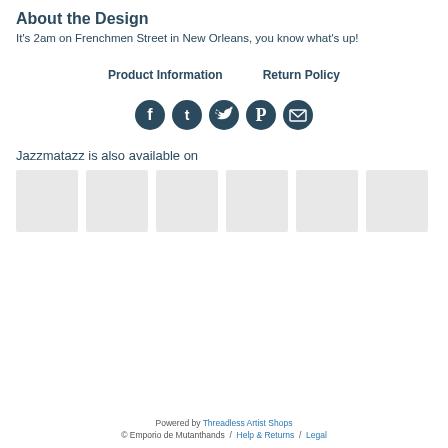About the Design
It's 2am on Frenchmen Street in New Orleans, you know what's up!
Product Information    Return Policy
[Figure (infographic): Five circular dark teal social media icon buttons: Facebook, Tumblr, Twitter, Pinterest, Email]
Jazzmatazz is also available on
[Figure (infographic): Six light gray product thumbnail placeholder squares]
Powered by Threadless Artist Shops
© Emporio de Mutanthands  /  Help & Returns  /  Legal